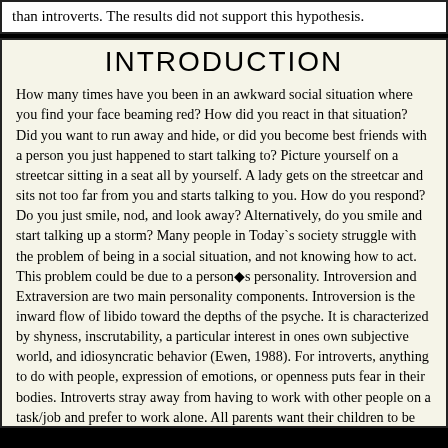than introverts. The results did not support this hypothesis.
INTRODUCTION
How many times have you been in an awkward social situation where you find your face beaming red? How did you react in that situation? Did you want to run away and hide, or did you become best friends with a person you just happened to start talking to? Picture yourself on a streetcar sitting in a seat all by yourself. A lady gets on the streetcar and sits not too far from you and starts talking to you. How do you respond? Do you just smile, nod, and look away? Alternatively, do you smile and start talking up a storm? Many people in Today`s society struggle with the problem of being in a social situation, and not knowing how to act. This problem could be due to a person◆s personality. Introversion and Extraversion are two main personality components. Introversion is the inward flow of libido toward the depths of the psyche. It is characterized by shyness, inscrutability, a particular interest in ones own subjective world, and idiosyncratic behavior (Ewen, 1988). For introverts, anything to do with people, expression of emotions, or openness puts fear in their bodies. Introverts stray away from having to work with other people on a task/job and prefer to work alone. All parents want their children to be outgoing and have many friends. For some people they just feel more comfortable being by themselves. According to psychologist Silverman, ◆It is actually healthy to be an introvert. The only unhealthy part of it is denying your true self and trying to disguise yourself as an extrovert◆ (2). Extraversion is an outward flow of libido toward the external world. Characterized by habitual outgoingness venturing forth with confidence into unknown